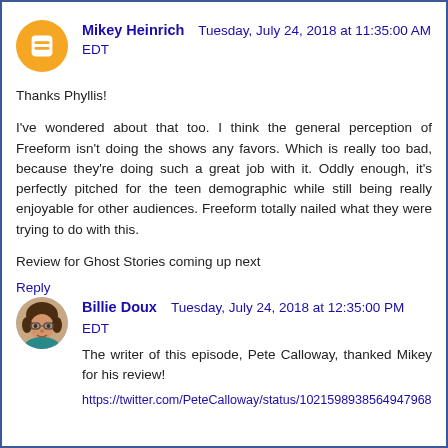Mikey Heinrich   Tuesday, July 24, 2018 at 11:35:00 AM EDT
Thanks Phyllis!
I've wondered about that too. I think the general perception of Freeform isn't doing the shows any favors. Which is really too bad, because they're doing such a great job with it. Oddly enough, it's perfectly pitched for the teen demographic while still being really enjoyable for other audiences. Freeform totally nailed what they were trying to do with this.
Review for Ghost Stories coming up next
Reply
Billie Doux   Tuesday, July 24, 2018 at 12:35:00 PM EDT
The writer of this episode, Pete Calloway, thanked Mikey for his review!
https://twitter.com/PeteCalloway/status/1021598938564947968